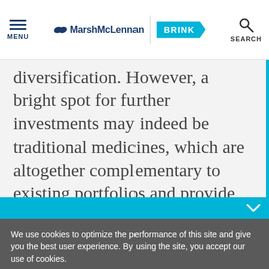MENU | MarshMcLennan BRINK | SEARCH
diversification. However, a bright spot for further investments may indeed be traditional medicines, which are altogether complementary to existing portfolios and provide access to entirely
We use cookies to optimize the performance of this site and give you the best user experience. By using the site, you accept our use of cookies.
Okay
Manage Cookies